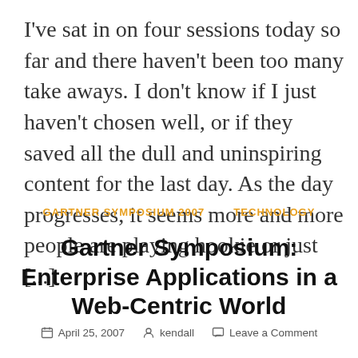I've sat in on four sessions today so far and there haven't been too many take aways. I don't know if I just haven't chosen well, or if they saved all the dull and uninspiring content for the last day. As the day progresses, it seems more and more people are playing hookie or just [...]
GARTNER SYMPOSIUM 2007    TECHNOLOGY
Gartner Symposium: Enterprise Applications in a Web-Centric World
April 25, 2007    kendall    Leave a Comment